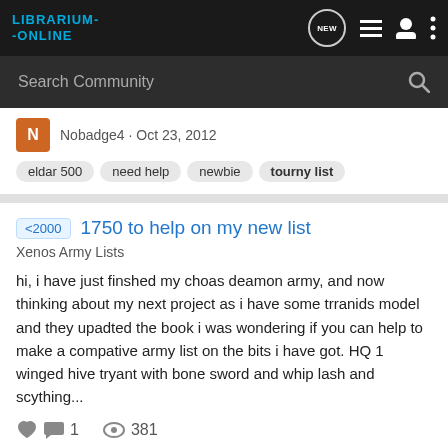Librarium-Online
Search Community
Nobadge4 · Oct 23, 2012
eldar 500  need help  newbie  tourny list
<2000  1750 to help on my new list
Xenos Army Lists
hi, i have just finshed my choas deamon army, and now thinking about my next project as i have some trranids model and they upadted the book i was wondering if you can help to make a compative army list on the bits i have got. HQ 1 winged hive tryant with bone sword and whip lash and scything...
1  381
warhammermad_99 · Aug 9, 2011